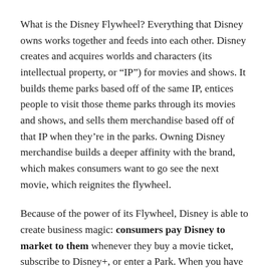What is the Disney Flywheel? Everything that Disney owns works together and feeds into each other. Disney creates and acquires worlds and characters (its intellectual property, or “IP”) for movies and shows. It builds theme parks based off of the same IP, entices people to visit those theme parks through its movies and shows, and sells them merchandise based off of that IP when they’re in the parks. Owning Disney merchandise builds a deeper affinity with the brand, which makes consumers want to go see the next movie, which reignites the flywheel.
Because of the power of its Flywheel, Disney is able to create business magic: consumers pay Disney to market to them whenever they buy a movie ticket, subscribe to Disney+, or enter a Park. When you have a magic trick